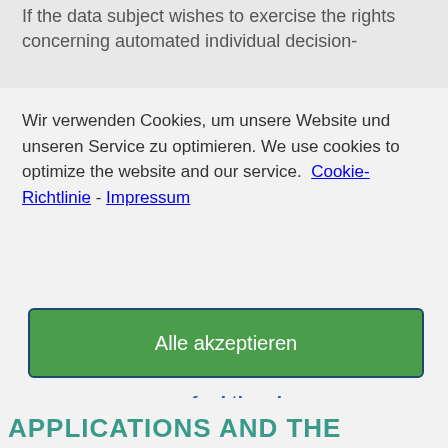If the data subject wishes to exercise the rights concerning automated individual decision-
Wir verwenden Cookies, um unsere Website und unseren Service zu optimieren. We use cookies to optimize the website and our service.  Cookie-Richtlinie - Impressum
Alle akzeptieren
nur funktionale
anpassen
APPLICATIONS AND THE